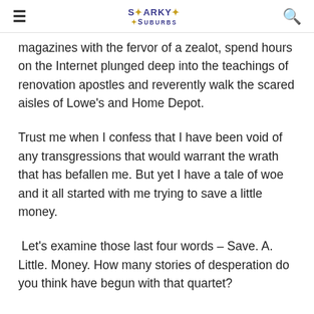Snarky in the Suburbs
magazines with the fervor of a zealot, spend hours on the Internet plunged deep into the teachings of renovation apostles and reverently walk the scared aisles of Lowe's and Home Depot.
Trust me when I confess that I have been void of any transgressions that would warrant the wrath that has befallen me. But yet I have a tale of woe and it all started with me trying to save a little money.
Let's examine those last four words – Save. A. Little. Money. How many stories of desperation do you think have begun with that quartet?